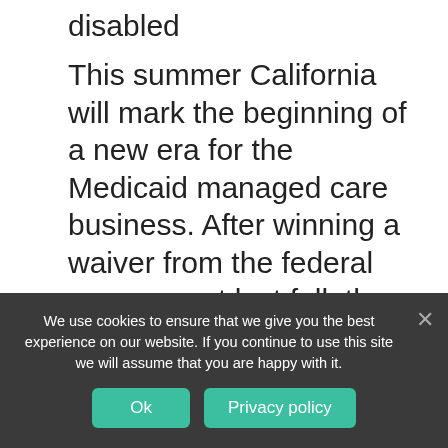disabled
This summer California will mark the beginning of a new era for the Medicaid managed care business. After winning a waiver from the federal government last fall, the state's aged, blind, and disabled beneficiaries — the ABDs, in the parlance of the trade — will be required to join one of California's Medi-Cal managed care plans.
As a result, about 380,000 high-risk beneficiaries will migrate into a plan, most in dense urban areas like Los Angeles, San
We use cookies to ensure that we give you the best experience on our website. If you continue to use this site we will assume that you are happy with it.